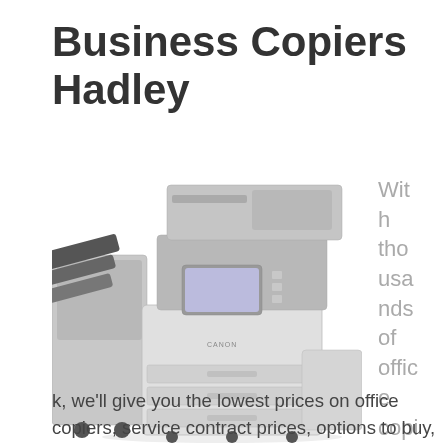Business Copiers Hadley
[Figure (photo): Large office multifunction copier/printer with document feeder, control panel touchscreen, multiple paper trays, and side finishing unit on wheels]
With thousands of office copiers in stock, we'll give you the lowest prices on office copiers, service contract prices, options to buy,